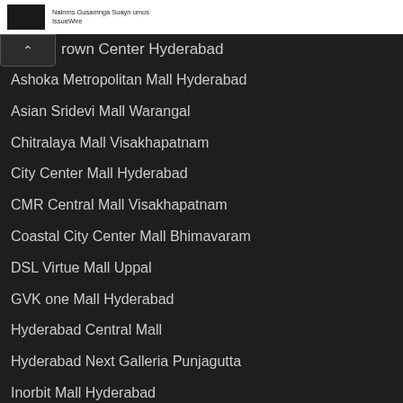IssueWire
Town Center Hyderabad
Ashoka Metropolitan Mall Hyderabad
Asian Sridevi Mall Warangal
Chitralaya Mall Visakhapatnam
City Center Mall Hyderabad
CMR Central Mall Visakhapatnam
Coastal City Center Mall Bhimavaram
DSL Virtue Mall Uppal
GVK one Mall Hyderabad
Hyderabad Central Mall
Hyderabad Next Galleria Punjagutta
Inorbit Mall Hyderabad
Jagadishwar Mall Hyderabad
Jyoti Mall Kurnool